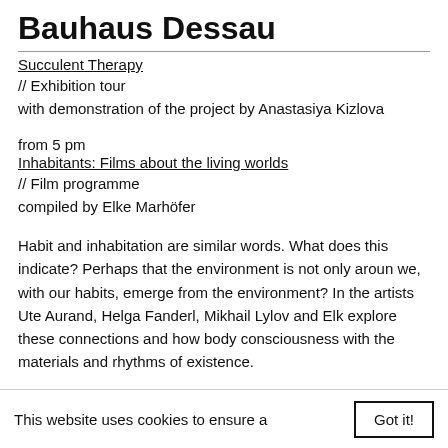Bauhaus Dessau
Succulent Therapy
// Exhibition tour
with demonstration of the project by Anastasiya Kizlova
from 5 pm
Inhabitants: Films about the living worlds
// Film programme
compiled by Elke Marhöfer
Habit and inhabitation are similar words. What does this indicate? Perhaps that the environment is not only around we, with our habits, emerge from the environment? In the artists Ute Aurand, Helga Fanderl, Mikhail Lylov and Elke explore these connections and how body consciousness with the materials and rhythms of existence.
This website uses cookies to ensure a